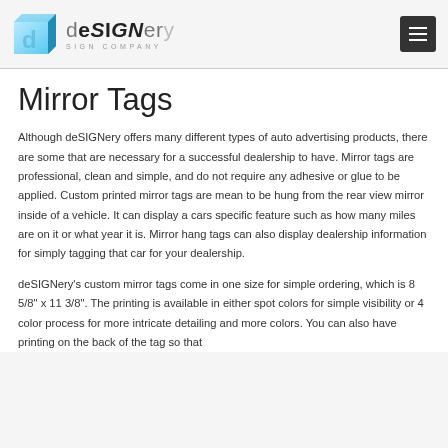deSIGNery SIGN COMPANY
Mirror Tags
Although deSIGNery offers many different types of auto advertising products, there are some that are necessary for a successful dealership to have. Mirror tags are professional, clean and simple, and do not require any adhesive or glue to be applied. Custom printed mirror tags are mean to be hung from the rear view mirror inside of a vehicle. It can display a cars specific feature such as how many miles are on it or what year it is. Mirror hang tags can also display dealership information for simply tagging that car for your dealership.
deSIGNery's custom mirror tags come in one size for simple ordering, which is 8 5/8" x 11 3/8". The printing is available in either spot colors for simple visibility or 4 color process for more intricate detailing and more colors. You can also have printing on the back of the tag so that